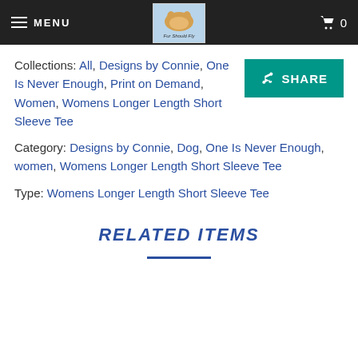MENU | [Logo: Fur Should Fly] | Cart 0
Collections: All, Designs by Connie, One Is Never Enough, Print on Demand, Women, Womens Longer Length Short Sleeve Tee
Category: Designs by Connie, Dog, One Is Never Enough, women, Womens Longer Length Short Sleeve Tee
Type: Womens Longer Length Short Sleeve Tee
RELATED ITEMS